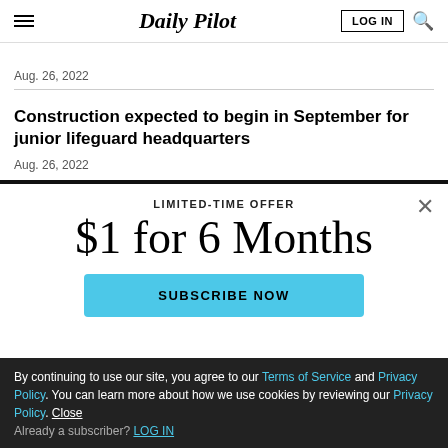Daily Pilot
Aug. 26, 2022
Construction expected to begin in September for junior lifeguard headquarters
Aug. 26, 2022
LIMITED-TIME OFFER
$1 for 6 Months
SUBSCRIBE NOW
By continuing to use our site, you agree to our Terms of Service and Privacy Policy. You can learn more about how we use cookies by reviewing our Privacy Policy. Close
Already a subscriber? LOG IN